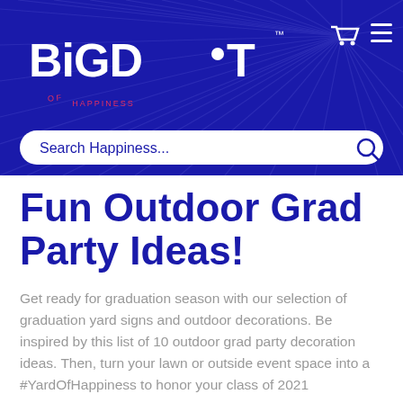[Figure (logo): Big Dot of Happiness logo in white on dark blue background with sunburst rays, cart icon and hamburger menu icon]
Fun Outdoor Grad Party Ideas!
Get ready for graduation season with our selection of graduation yard signs and outdoor decorations. Be inspired by this list of 10 outdoor grad party decoration ideas. Then, turn your lawn or outside event space into a #YardOfHappiness to honor your class of 2021